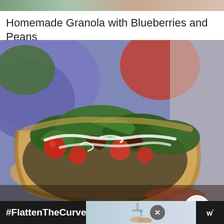[Figure (photo): Partial view of a food image at the very top of the page, cropped]
Homemade Granola with Blueberries and Peans
[Figure (photo): A tortilla bowl filled with a BLT salad — lettuce, cherry tomatoes, bacon, and ranch dressing drizzled on top. Colorful bokeh background. A 'What's Next' overlay in the bottom right shows a thumbnail for 'Oktoberfest Sheet Pan...' A share button is visible.]
WHAT'S NEXT → Oktoberfest Sheet Pan...
[Figure (screenshot): Advertisement banner at the bottom: dark background with '#FlattenTheCurve' text in white bold, a photo of a person washing hands, a close X button, and a W° logo on the right.]